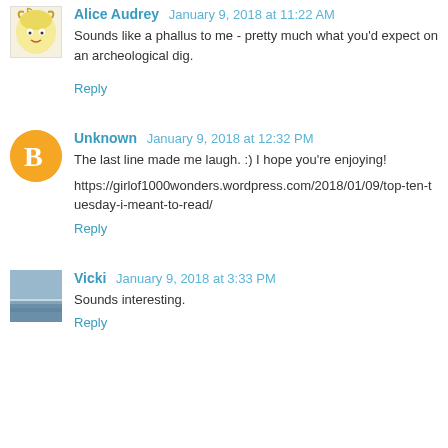Alice Audrey January 9, 2018 at 11:22 AM
Sounds like a phallus to me - pretty much what you'd expect on an archeological dig.
Reply
Unknown January 9, 2018 at 12:32 PM
The last line made me laugh. :) I hope you're enjoying!
https://girlof1000wonders.wordpress.com/2018/01/09/top-ten-tuesday-i-meant-to-read/
Reply
Vicki January 9, 2018 at 3:33 PM
Sounds interesting.
Reply